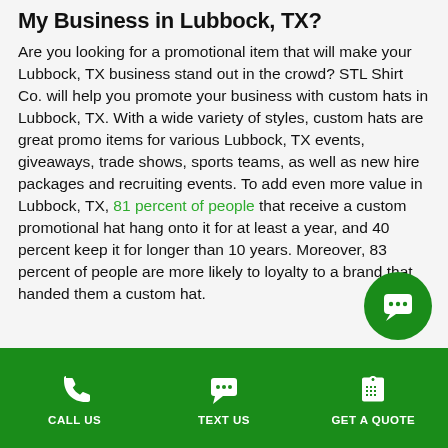My Business in Lubbock, TX?
Are you looking for a promotional item that will make your Lubbock, TX business stand out in the crowd? STL Shirt Co. will help you promote your business with custom hats in Lubbock, TX. With a wide variety of styles, custom hats are great promo items for various Lubbock, TX events, giveaways, trade shows, sports teams, as well as new hire packages and recruiting events. To add even more value in Lubbock, TX, 81 percent of people that receive a custom promotional hat hang onto it for at least a year, and 40 percent keep it for longer than 10 years. Moreover, 83 percent of people are more likely to loyalty to a brand that handed them a custom hat.
CALL US | TEXT US | GET A QUOTE